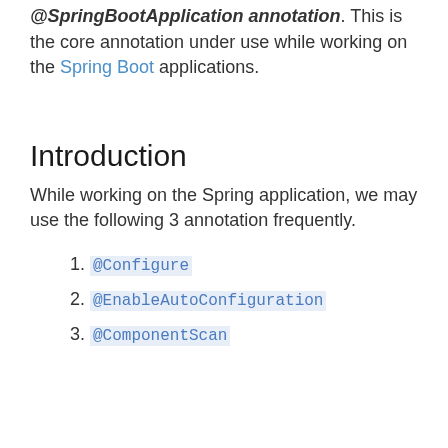@SpringBootApplication annotation. This is the core annotation under use while working on the Spring Boot applications.
Introduction
While working on the Spring application, we may use the following 3 annotation frequently.
@Configure
@EnableAutoConfiguration
@ComponentScan